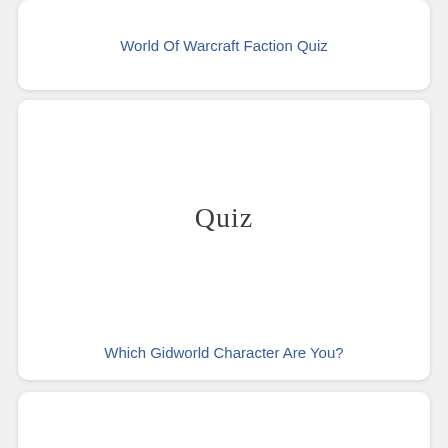World Of Warcraft Faction Quiz
[Figure (illustration): Card with 'Quiz' text placeholder image in cursive]
Which Gidworld Character Are You?
[Figure (illustration): Card with 'Quiz' text placeholder image in cursive (partial, bottom card)]